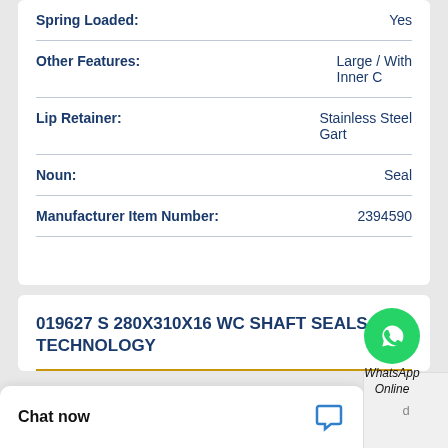| Property | Value |
| --- | --- |
| Spring Loaded: | Yes |
| Other Features: | Large / With Inner C |
| Lip Retainer: | Stainless Steel Gart |
| Noun: | Seal |
| Manufacturer Item Number: | 2394590 |
[Figure (logo): WhatsApp green circle icon with phone handset, labelled WhatsApp Online]
019627 S 280X310X16 WC SHAFT SEALS TECHNOLOGY
Chat now